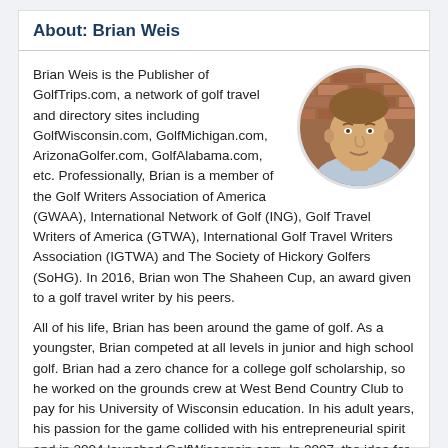About: Brian Weis
[Figure (photo): Circular headshot photo of Brian Weis, a middle-aged man in a light blue patterned shirt, standing in front of a brick wall background.]
Brian Weis is the Publisher of GolfTrips.com, a network of golf travel and directory sites including GolfWisconsin.com, GolfMichigan.com, ArizonaGolfer.com, GolfAlabama.com, etc. Professionally, Brian is a member of the Golf Writers Association of America (GWAA), International Network of Golf (ING), Golf Travel Writers of America (GTWA), International Golf Travel Writers Association (IGTWA) and The Society of Hickory Golfers (SoHG). In 2016, Brian won The Shaheen Cup, an award given to a golf travel writer by his peers.
All of his life, Brian has been around the game of golf. As a youngster, Brian competed at all levels in junior and high school golf. Brian had a zero chance for a college golf scholarship, so he worked on the grounds crew at West Bend Country Club to pay for his University of Wisconsin education. In his adult years, his passion for the game collided with his entrepreneurial spirit and in 2004 launched GolfWisconsin.com. In 2007, the idea for a network of local golf directory sites formed and GolfTrips.com was born. Today, the network consists of a site in all 50 states supported by national sites like GolfTrips.com, GolfGuide.com and GolfPackages.com. It is an understatement to say, Brian is passionate about promoting golf and golf travel on a local, regional, national and